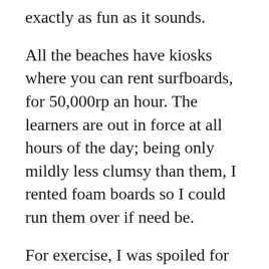exactly as fun as it sounds.
All the beaches have kiosks where you can rent surfboards, for 50,000rp an hour. The learners are out in force at all hours of the day; being only mildly less clumsy than them, I rented foam boards so I could run them over if need be.
For exercise, I was spoiled for choice on this most recent visit. The guesthouse had some bars for calisthenics, the coworking space had a little gym where we hung some rings, and then my friend showed me this amazing